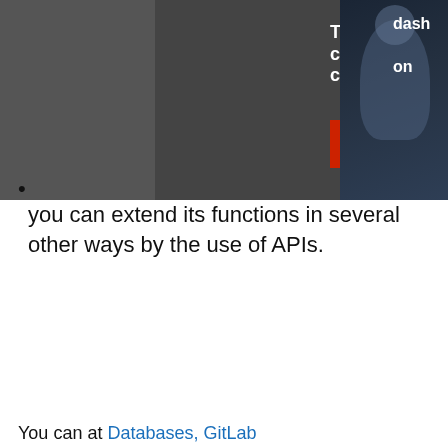[Figure (screenshot): Advertisement banner with dark background showing 'This is what connecting your clouds feels like' text and a 'See more' red button, with a photo of a person at a computer on the right side. Partial text 'dash' and 'on' visible on far right.]
you can extend its functions in several other ways by the use of APIs.
You can at Databases, GitLab...